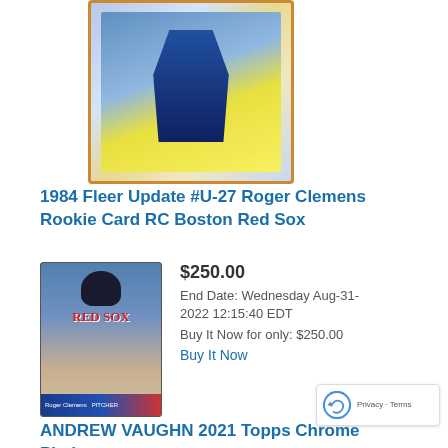[Figure (photo): Trading card photo at top, showing a holographic/shiny baseball card with orange border]
1984 Fleer Update #U-27 Roger Clemens Rookie Card RC Boston Red Sox
[Figure (photo): Roger Clemens baseball card photo showing player in Red Sox uniform]
$250.00
End Date: Wednesday Aug-31-2022 12:15:40 EDT
Buy It Now for only: $250.00
Buy It Now
ANDREW VAUGHN 2021 Topps Chrome Platinum Anniversary Red Auto /5 RC SSP CHI SOX